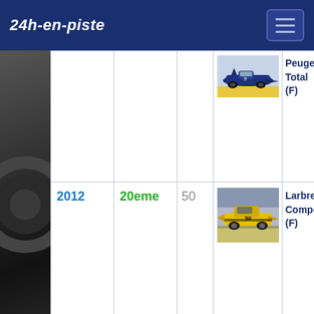24h-en-piste
| Year | Position | No. | Car | Team |
| --- | --- | --- | --- | --- |
|  |  |  | [Peugeot car image] | Peugeot Total (F) |
| 2012 | 20eme | 50 | [Corvette car image] | Larbre Competi... (F) |